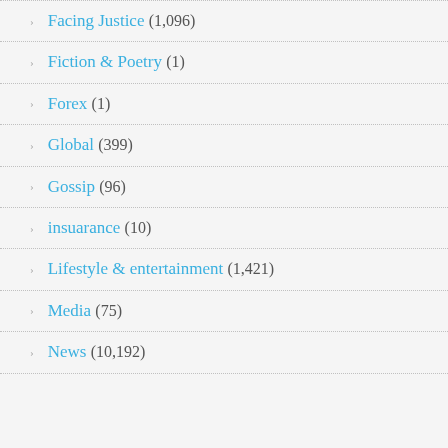Facing Justice (1,096)
Fiction & Poetry (1)
Forex (1)
Global (399)
Gossip (96)
insuarance (10)
Lifestyle & entertainment (1,421)
Media (75)
News (10,192)